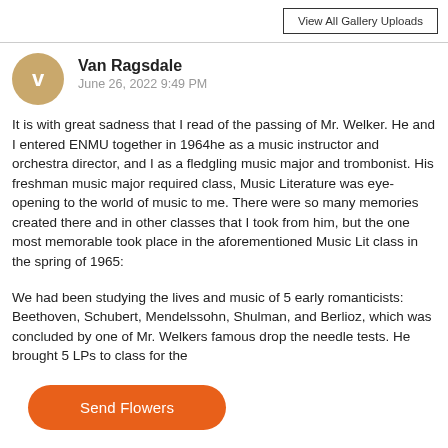View All Gallery Uploads
Van Ragsdale
June 26, 2022 9:49 PM
It is with great sadness that I read of the passing of Mr. Welker. He and I entered ENMU together in 1964he as a music instructor and orchestra director, and I as a fledgling music major and trombonist. His freshman music major required class, Music Literature was eye-opening to the world of music to me. There were so many memories created there and in other classes that I took from him, but the one most memorable took place in the aforementioned Music Lit class in the spring of 1965:
We had been studying the lives and music of 5 early romanticists: Beethoven, Schubert, Mendelssohn, Shulman, and Berlioz, which was concluded by one of Mr. Welkers famous drop the needle tests. He brought 5 LPs to class for the
Send Flowers